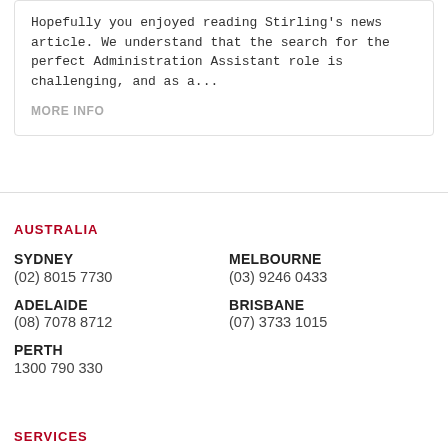Hopefully you enjoyed reading Stirling's news article. We understand that the search for the perfect Administration Assistant role is challenging, and as a...
MORE INFO
AUSTRALIA
SYDNEY
(02) 8015 7730
MELBOURNE
(03) 9246 0433
ADELAIDE
(08) 7078 8712
BRISBANE
(07) 3733 1015
PERTH
1300 790 330
SERVICES